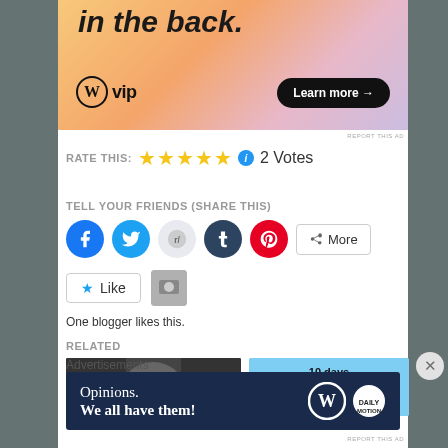[Figure (other): WordPress VIP advertisement banner with gradient orange/pink/purple background, WordPress logo, 'in the back.' text, and 'Learn more' button]
REPORT THIS AD
RATE THIS: ★★★★★ ℹ 2 Votes
TELL YOUR FRIENDS (SHARE THIS)
[Figure (other): Social sharing buttons: Facebook, Twitter, Reddit, Tumblr, Pinterest circles, and a More button]
[Figure (other): Like button with star icon and blogger thumbnail]
One blogger likes this.
RELATED
[Figure (other): Two related article thumbnail images]
Advertisements
[Figure (other): WordPress advertisement: 'Opinions. We all have them!' with WordPress and DailyMotion logos on dark blue background]
REPORT THIS AD